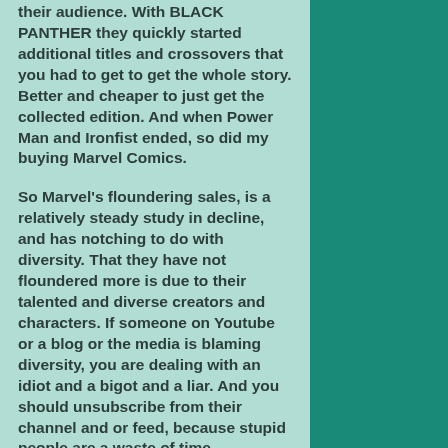their audience. With BLACK PANTHER they quickly started additional titles and crossovers that you had to get to get the whole story. Better and cheaper to just get the collected edition. And when Power Man and Ironfist ended, so did my buying Marvel Comics.
So Marvel's floundering sales, is a relatively steady study in decline, and has notching to do with diversity. That they have not floundered more is due to their talented and diverse creators and characters. If someone on Youtube or a blog or the media is blaming diversity, you are dealing with an idiot and a bigot and a liar. And you should unsubscribe from their channel and or feed, because stupid people are a waste of time.
Diversity is not Marvel Comics problem. Their problem #1 is pricing. $4 they charge per issue, or $3.99 as